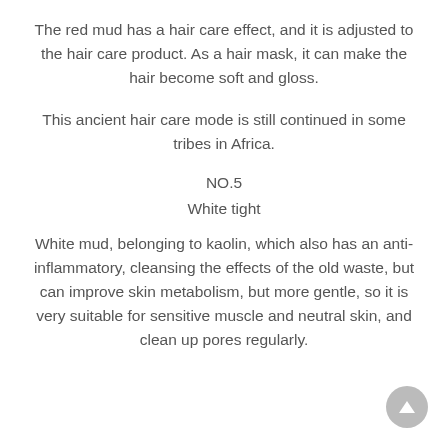The red mud has a hair care effect, and it is adjusted to the hair care product. As a hair mask, it can make the hair become soft and gloss.
This ancient hair care mode is still continued in some tribes in Africa.
NO.5
White tight
White mud, belonging to kaolin, which also has an anti-inflammatory, cleansing the effects of the old waste, but can improve skin metabolism, but more gentle, so it is very suitable for sensitive muscle and neutral skin, and clean up pores regularly.